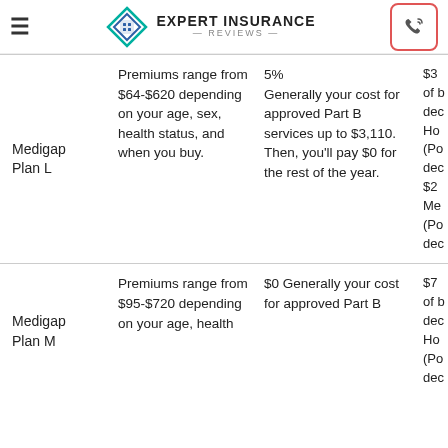Expert Insurance Reviews
| Plan | Premiums | Cost Share | Other |
| --- | --- | --- | --- |
| Medigap Plan L | Premiums range from $64-$620 depending on your age, sex, health status, and when you buy. | 5% Generally your cost for approved Part B services up to $3,110. Then, you'll pay $0 for the rest of the year. | $3 of d dec Ho (Po dec $2 Me (Po dec |
| Medigap Plan M | Premiums range from $95-$720 depending on your age, health... | $0 Generally your cost for approved Part B... | $7 of d dec Ho (Po dec |